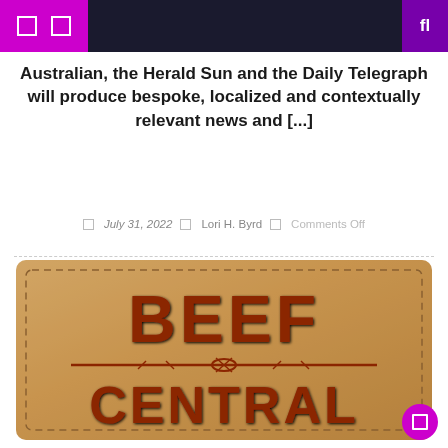Navigation header with icons
Australian, the Herald Sun and the Daily Telegraph will produce bespoke, localized and contextually relevant news and [...]
July 31, 2022 | Lori H. Byrd | Comments Off
[Figure (logo): Beef Central logo on a leather patch background with stitched border. Text reads BEEF CENTRAL with a barbed wire design in the middle, embossed in dark red on tan leather.]